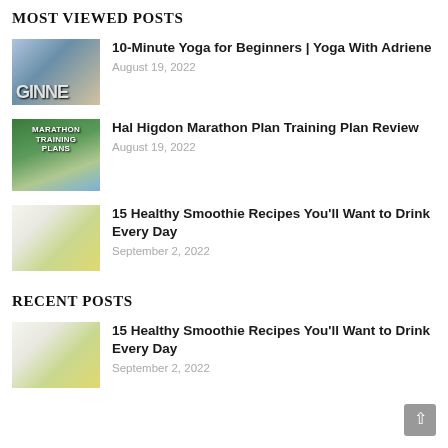MOST VIEWED POSTS
10-Minute Yoga for Beginners | Yoga With Adriene — August 19, 2022
Hal Higdon Marathon Plan Training Plan Review — August 19, 2022
15 Healthy Smoothie Recipes You'll Want to Drink Every Day — September 2, 2022
RECENT POSTS
15 Healthy Smoothie Recipes You'll Want to Drink Every Day — September 2, 2022